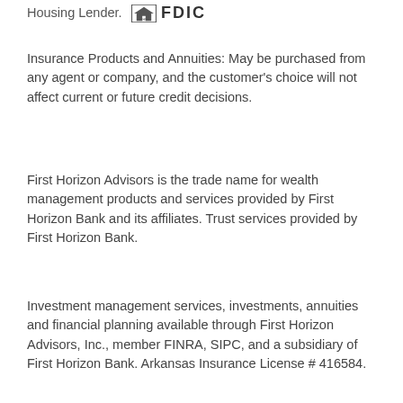Housing Lender. [EHO logo] FDIC
Insurance Products and Annuities: May be purchased from any agent or company, and the customer's choice will not affect current or future credit decisions.
First Horizon Advisors is the trade name for wealth management products and services provided by First Horizon Bank and its affiliates. Trust services provided by First Horizon Bank.
Investment management services, investments, annuities and financial planning available through First Horizon Advisors, Inc., member FINRA, SIPC, and a subsidiary of First Horizon Bank. Arkansas Insurance License # 416584.